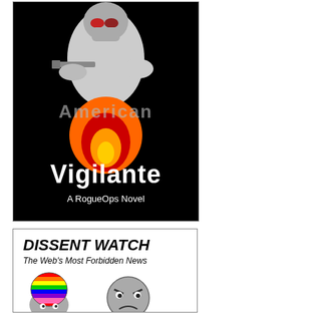[Figure (illustration): Book cover for 'American Vigilante: A RogueOps Novel'. Black background with a soldier in tactical gear and gas mask holding a weapon, large fire/explosion in center, text 'American' in gray across middle and 'Vigilante' in white bold below, subtitle 'A RogueOps Novel' at bottom.]
[Figure (illustration): Dissent Watch banner/logo. White background with bold italic text 'DISSENT WATCH' and italic subtitle 'The Web's Most Forbidden News'. Below are two cartoon head illustrations: one with rainbow-colored brain visible, one gray angry face.]